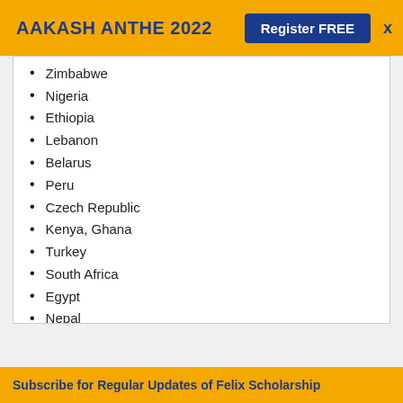AAKASH ANTHE 2022  Register FREE  X
Zimbabwe
Nigeria
Ethiopia
Lebanon
Belarus
Peru
Czech Republic
Kenya, Ghana
Turkey
South Africa
Egypt
Nepal
Hungary
Lebanon.
Subscribe for Regular Updates of Felix Scholarship